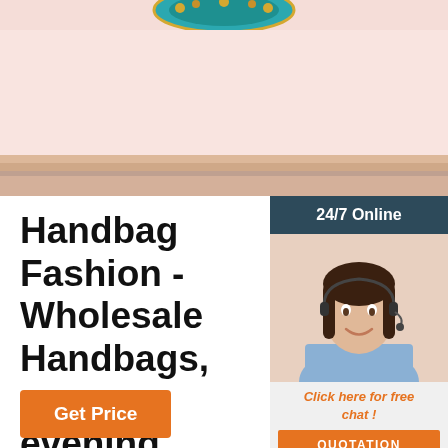[Figure (photo): Hero image showing a decorative handbag/accessory with ornamental design on a pink shelf/background]
Handbag Fashion - Wholesale Handbags, purses, evening
Handbag Fashion for wholesale handbags, handbags, designer's inspired handbags, bags, clutches, belts, caps, hats and more. Fashion World offers the highest quality handbags and hottest fashions for women.
[Figure (infographic): 24/7 Online chat widget with a customer service representative photo, 'Click here for free chat!' text and QUOTATION button]
[Figure (infographic): Orange TOP button with dotted arrow pointing upward]
Get Price